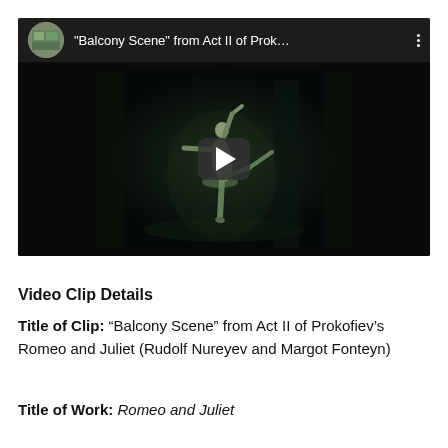[Figure (screenshot): YouTube video thumbnail showing a ballet dancer performing on a dark stage. The video header shows a circular channel icon, the title '"Balcony Scene" from Act II of Prok...' and a three-dot menu icon. A play button is centered on the dark video frame.]
Video Clip Details
Title of Clip: “Balcony Scene” from Act II of Prokofiev’s Romeo and Juliet (Rudolf Nureyev and Margot Fonteyn)
Title of Work: Romeo and Juliet